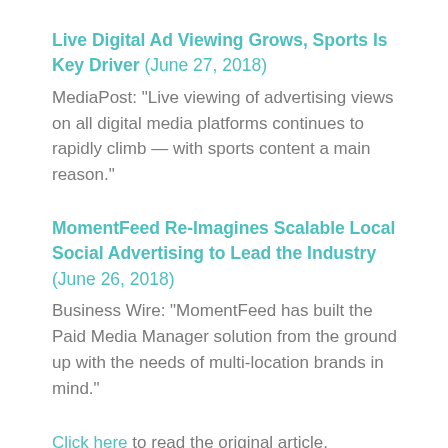Live Digital Ad Viewing Grows, Sports Is Key Driver (June 27, 2018)
MediaPost: "Live viewing of advertising views on all digital media platforms continues to rapidly climb — with sports content a main reason."
MomentFeed Re-Imagines Scalable Local Social Advertising to Lead the Industry (June 26, 2018)
Business Wire: "MomentFeed has built the Paid Media Manager solution from the ground up with the needs of multi-location brands in mind."
Click here to read the original article.